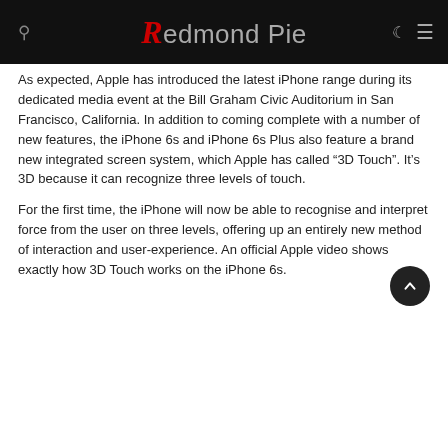Redmond Pie
As expected, Apple has introduced the latest iPhone range during its dedicated media event at the Bill Graham Civic Auditorium in San Francisco, California. In addition to coming complete with a number of new features, the iPhone 6s and iPhone 6s Plus also feature a brand new integrated screen system, which Apple has called “3D Touch”. It’s 3D because it can recognize three levels of touch.
For the first time, the iPhone will now be able to recognise and interpret force from the user on three levels, offering up an entirely new method of interaction and user-experience. An official Apple video shows exactly how 3D Touch works on the iPhone 6s.